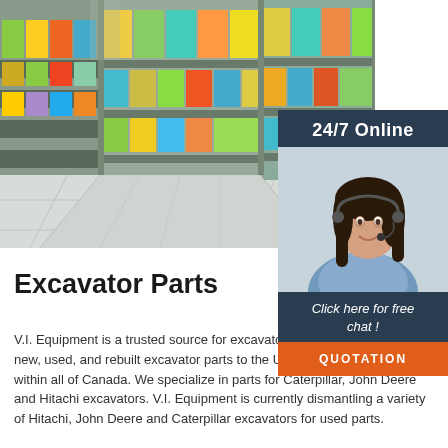[Figure (photo): Grocery store shelf aisle with colorful product packages on shelves, wide-angle view with floor tiles]
[Figure (illustration): 24/7 Online chat widget with dark blue background, woman with headset smiling, 'Click here for free chat!' text and orange QUOTATION button]
Excavator Parts
V.I. Equipment is a trusted source for excavator parts. We're proud to ship new, used, and rebuilt excavator parts to the USA, internationally, and within all of Canada. We specialize in parts for Caterpillar, John Deere and Hitachi excavators. V.I. Equipment is currently dismantling a variety of Hitachi, John Deere and Caterpillar excavators for used parts.